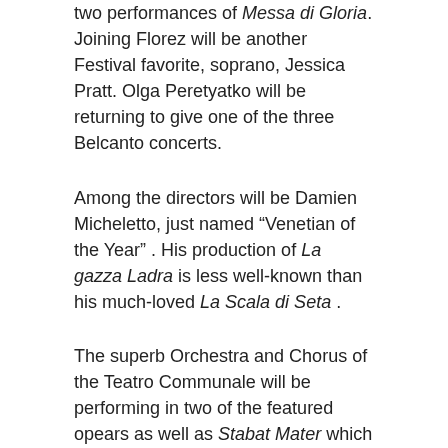two performances of Messa di Gloria. Joining Florez will be another Festival favorite, soprano, Jessica Pratt. Olga Peretyatko will be returning to give one of the three Belcanto concerts.
Among the directors will be Damien Micheletto, just named “Venetian of the Year” . His production of La gazza Ladra is less well-known than his much-loved La Scala di Seta .
The superb Orchestra and Chorus of the Teatro Communale will be performing in two of the featured opears as well as Stabat Mater which will close the Festival. This performance will be transmitted to the Piazza del Popolo as has been the case for many years.
The conductors include Roberto Abbado for the Messa di Gloria and Michele Mariotti for Stabat Mater, as well as Donato Renzetti, Enrique Mazzola, Denis Vlasenko.